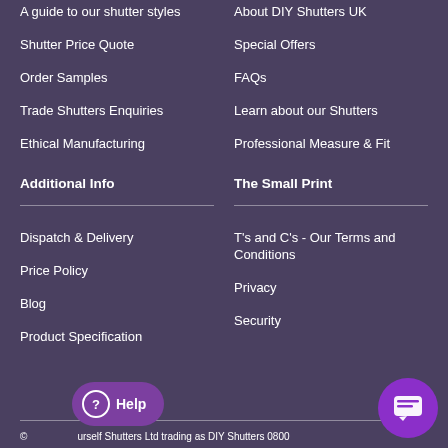A guide to our shutter styles
About DIY Shutters UK
Shutter Price Quote
Special Offers
Order Samples
FAQs
Trade Shutters Enquiries
Learn about our Shutters
Ethical Manufacturing
Professional Measure & Fit
Additional Info
The Small Print
Dispatch & Delivery
T's and C's - Our Terms and Conditions
Price Policy
Privacy
Blog
Security
Product Specification
© urself Shutters Ltd trading as DIY Shutters 0800